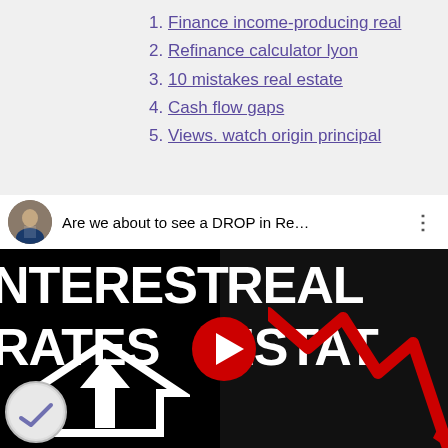1. Finance income-producing real
2. Refinance calculator lyon
3. 10 mistakes real estate
4. Cash flow gaps
5. Views. watch origin principal
[Figure (screenshot): YouTube video thumbnail showing 'Are we about to see a DROP in Re...' with text INTEREST RATES on the left and REAL ESTATE on the right, house icon and red lightning bolt graph, with YouTube play button overlay]